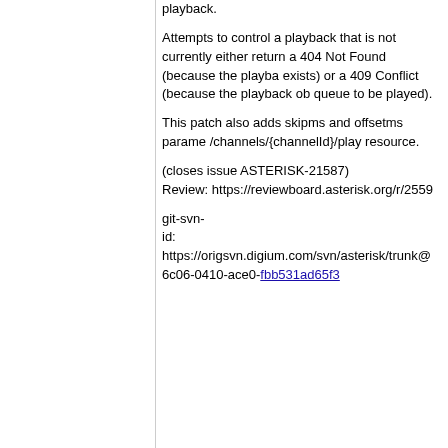playback.

Attempts to control a playback that is not currently either return a 404 Not Found (because the playback exists) or a 409 Conflict (because the playback ob queue to be played).

This patch also adds skipms and offsetms parame /channels/{channelId}/play resource.

(closes issue ASTERISK-21587)
Review: https://reviewboard.asterisk.org/r/2559

git-svn-id: https://origsvn.digium.com/svn/asterisk/trunk@ 6c06-0410-ace0-fbb531ad65f3
9 years ago   This patch implements the REST API's for POST /channels/{channelId}/play
commit | commitdiff | tree   David M. Lee [Thu, 23 May 2013 20:11:35 +0000 (20:11 +0000)]
This patch implements the REST API's for POST / and GET /playback/{playbackId}.

This allows an external application to initiate playb channel while the channel is in the Stasis applicati